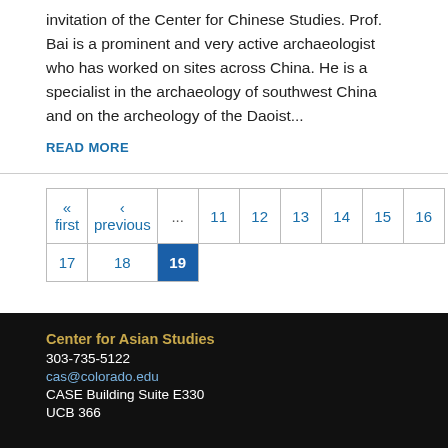invitation of the Center for Chinese Studies. Prof. Bai is a prominent and very active archaeologist who has worked on sites across China. He is a specialist in the archaeology of southwest China and on the archeology of the Daoist...
READ MORE
| « first | ‹ previous | ... | 11 | 12 | 13 | 14 | 15 | 16 |
| 17 | 18 | 19 (active) |
Center for Asian Studies
303-735-5122
cas@colorado.edu
CASE Building Suite E330
UCB 366